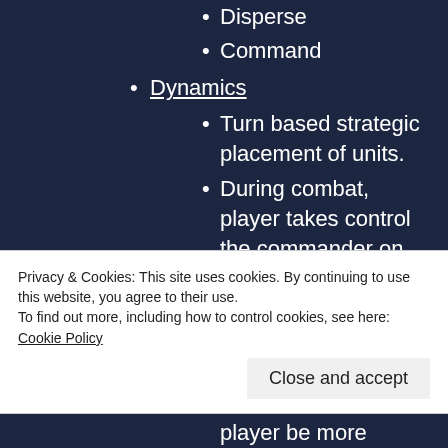Disperse
Command
Dynamics
Turn based strategic placement of units.
During combat, player takes control the commander on the field
During strategy mode, the player can harvest recourses and build
Privacy & Cookies: This site uses cookies. By continuing to use this website, you agree to their use.
To find out more, including how to control cookies, see here: Cookie Policy
Close and accept
player be more